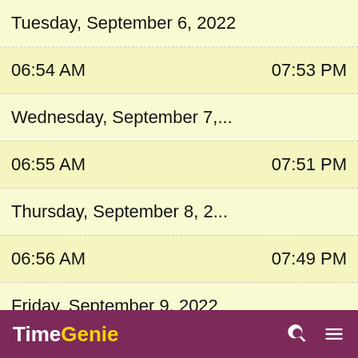Tuesday, September 6, 2022
06:54 AM   07:53 PM
Wednesday, September 7,...
06:55 AM   07:51 PM
Thursday, September 8, 2...
06:56 AM   07:49 PM
Friday, September 9, 2022
06:58 AM   07:47 PM
TimeGenie